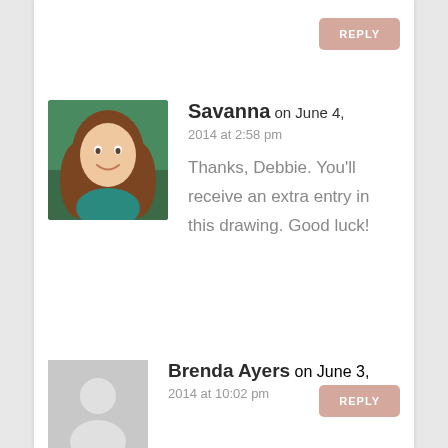REPLY
[Figure (photo): Profile photo of Savanna, a young woman with long brown hair, smiling, wearing a teal top, with green foliage in the background]
Savanna on June 4, 2014 at 2:58 pm
Thanks, Debbie. You'll receive an extra entry in this drawing. Good luck!
REPLY
[Figure (illustration): Default gray avatar placeholder with silhouette of a person]
Brenda Ayers on June 3, 2014 at 10:02 pm